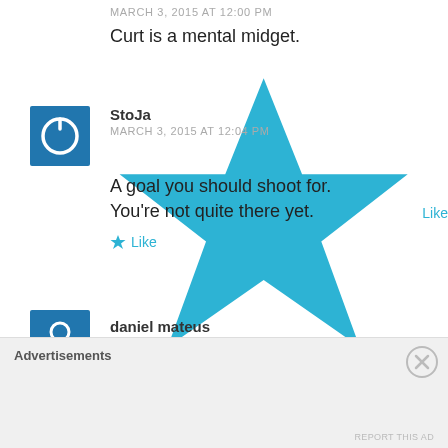MARCH 3, 2015 AT 12:00 PM
Curt is a mental midget.
Like
StoJa
MARCH 3, 2015 AT 12:04 PM
A goal you should shoot for. You’re not quite there yet.
Like
[Figure (illustration): Blue square avatar with white power button icon for user StoJa]
daniel mateus
Advertisements
REPORT THIS AD